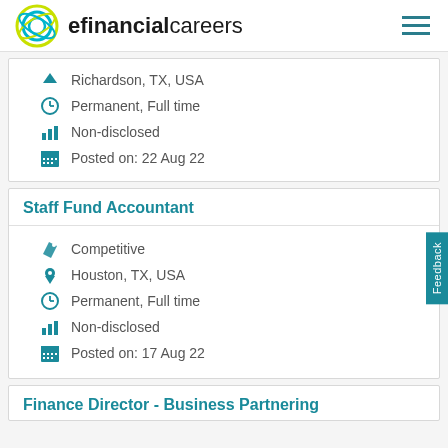efinancialcareers
Richardson, TX, USA | Permanent, Full time | Non-disclosed | Posted on: 22 Aug 22
Staff Fund Accountant
Competitive | Houston, TX, USA | Permanent, Full time | Non-disclosed | Posted on: 17 Aug 22
Finance Director - Business Partnering